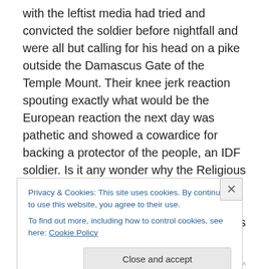with the leftist media had tried and convicted the soldier before nightfall and were all but calling for his head on a pike outside the Damascus Gate of the Temple Mount. Their knee jerk reaction spouting exactly what would be the European reaction the next day was pathetic and showed a cowardice for backing a protector of the people, an IDF soldier. Is it any wonder why the Religious Zionists in the society feel they have no trusted friends except for a small core of fellow travelers amongst those in the halls of power. This is even more true when one considers the robes of justice would be too leftist even in some
Privacy & Cookies: This site uses cookies. By continuing to use this website, you agree to their use.
To find out more, including how to control cookies, see here: Cookie Policy
Close and accept